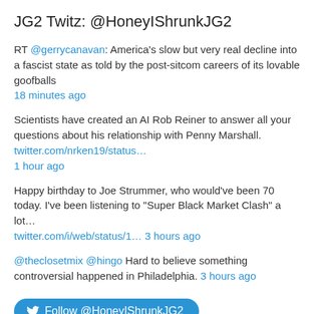JG2 Twitz: @HoneyIShrunkJG2
RT @gerrycanavan: America's slow but very real decline into a fascist state as told by the post-sitcom careers of its lovable goofballs
18 minutes ago
Scientists have created an AI Rob Reiner to answer all your questions about his relationship with Penny Marshall. twitter.com/nrken19/status…
1 hour ago
Happy birthday to Joe Strummer, who would've been 70 today. I've been listening to "Super Black Market Clash" a lot…
twitter.com/i/web/status/1… 3 hours ago
@theclosetmix @hingo Hard to believe something controversial happened in Philadelphia. 3 hours ago
[Figure (other): Follow @HoneyIShrunkJG2 button with Twitter bird icon]
Subscribe